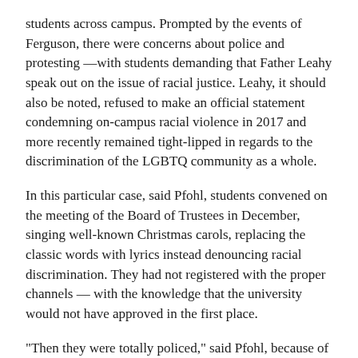students across campus. Prompted by the events of Ferguson, there were concerns about police and protesting —with students demanding that Father Leahy speak out on the issue of racial justice. Leahy, it should also be noted, refused to make an official statement condemning on-campus racial violence in 2017 and more recently remained tight-lipped in regards to the discrimination of the LGBTQ community as a whole.
In this particular case, said Pfohl, students convened on the meeting of the Board of Trustees in December, singing well-known Christmas carols, replacing the classic words with lyrics instead denouncing racial discrimination. They had not registered with the proper channels — with the knowledge that the university would not have approved in the first place.
"Then they were totally policed," said Pfohl, because of the justification that they "didn't have an officially designated [partially cut off]"